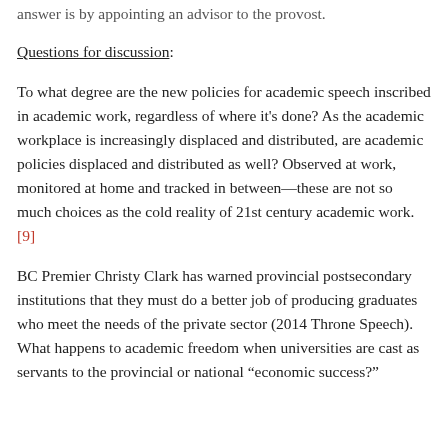answer is by appointing an advisor to the provost.
Questions for discussion:
To what degree are the new policies for academic speech inscribed in academic work, regardless of where it's done? As the academic workplace is increasingly displaced and distributed, are academic policies displaced and distributed as well? Observed at work, monitored at home and tracked in between—these are not so much choices as the cold reality of 21st century academic work.[9]
BC Premier Christy Clark has warned provincial postsecondary institutions that they must do a better job of producing graduates who meet the needs of the private sector (2014 Throne Speech). What happens to academic freedom when universities are cast as servants to the provincial or national “economic success?”